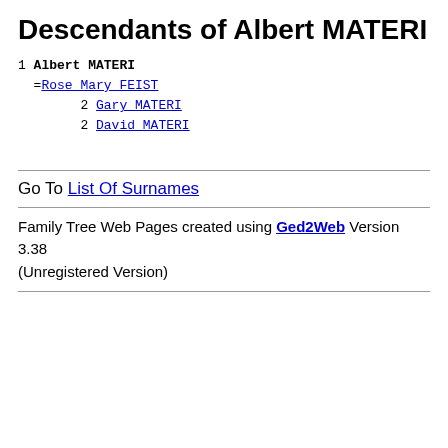Descendants of Albert MATERI
1  Albert MATERI
  =Rose Mary FEIST
        2 Gary MATERI
        2 David MATERI
Go To List Of Surnames
Family Tree Web Pages created using Ged2Web Version 3.38 (Unregistered Version)